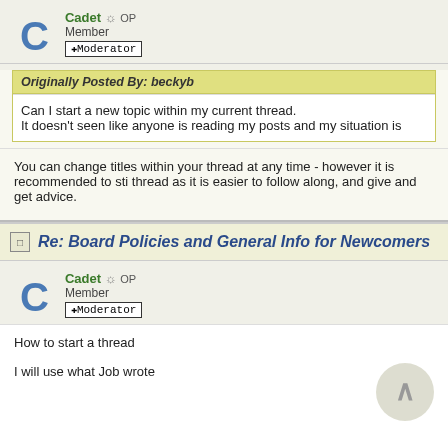Cadet  OP
Member
+ Moderator
Originally Posted By: beckyb
Can I start a new topic within my current thread.
It doesn't seen like anyone is reading my posts and my situation is
You can change titles within your thread at any time - however it is recommended to sti thread as it is easier to follow along, and give and get advice.
Re: Board Policies and General Info for Newcomers
Cadet  OP
Member
+ Moderator
How to start a thread

I will use what Job wrote
First: Cli...